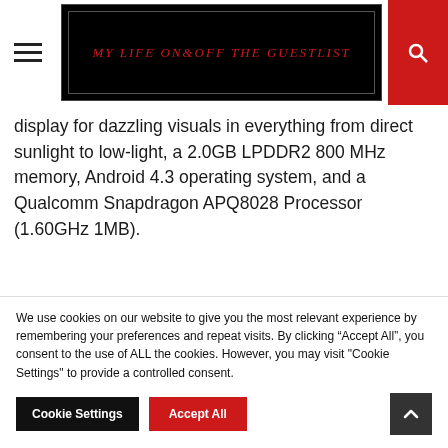MY LIFE on & off THE GUESTLIST
display for dazzling visuals in everything from direct sunlight to low-light, a 2.0GB LPDDR2 800 MHz memory, Android 4.3 operating system, and a Qualcomm Snapdragon APQ8028 Processor (1.60GHz 1MB).
[Figure (photo): Two Lenovo Yoga tablets shown at an angle displaying vibrant orange/sunset imagery on their screens]
We use cookies on our website to give you the most relevant experience by remembering your preferences and repeat visits. By clicking “Accept All”, you consent to the use of ALL the cookies. However, you may visit "Cookie Settings" to provide a controlled consent.